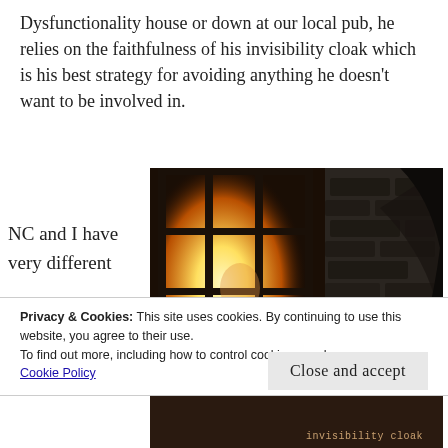Dysfunctionality house or down at our local pub, he relies on the faithfulness of his invisibility cloak which is his best strategy for avoiding anything he doesn't want to be involved in.
NC and I have very different
[Figure (photo): A dark atmospheric photo showing a glowing window with a ghostly figure silhouetted against bright warm light, with a dark stone or rocky texture on the right side.]
Privacy & Cookies: This site uses cookies. By continuing to use this website, you agree to their use.
To find out more, including how to control cookies, see here:
Cookie Policy
Close and accept
[Figure (photo): Bottom strip of a dark image with text 'invisibility cloak' visible in a stylized font.]